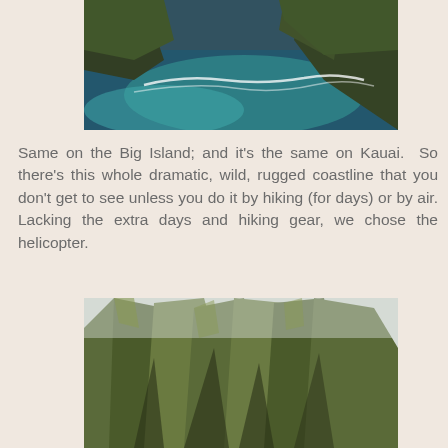[Figure (photo): Aerial view of a rugged rocky coastline with dark blue-green ocean water and steep green cliffs with white waves crashing at the base]
Same on the Big Island; and it's the same on Kauai.  So there's this whole dramatic, wild, rugged coastline that you don't get to see unless you do it by hiking (for days) or by air. Lacking the extra days and hiking gear, we chose the helicopter.
[Figure (photo): Aerial view of dramatic sharp green ridges and deep valleys of the Na Pali Coast of Kauai, Hawaii, shot from a helicopter]